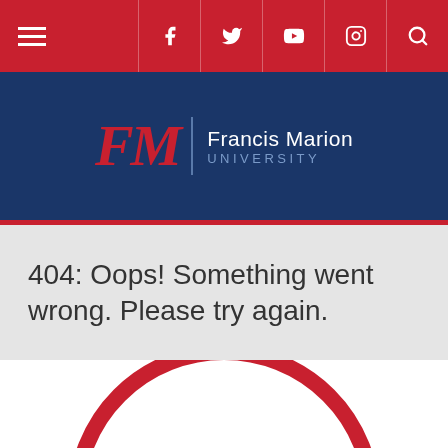Navigation bar with hamburger menu and social icons (Facebook, Twitter, YouTube, Instagram, Search)
[Figure (logo): Francis Marion University logo with FM monogram in red on dark blue background]
404: Oops! Something went wrong. Please try again.
[Figure (illustration): Circular red-bordered 404 error graphic, partially visible at bottom of page showing large dark blue '404' text inside a red circle]